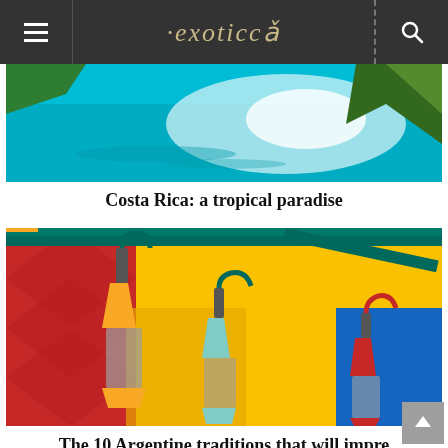exoticca
[Figure (photo): Turquoise water with tropical vegetation, Costa Rica travel image]
Costa Rica: a tropical paradise
[Figure (photo): Colorful street lanterns hanging on bright yellow, red and blue walls in La Boca, Buenos Aires, Argentina]
The 10 Argentine traditions that will impre you